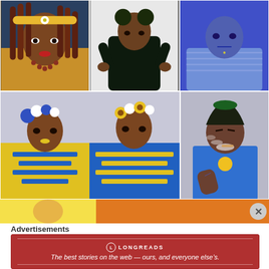[Figure (photo): Three-photo grid row: left - woman with braids and yellow headband in yellow outfit; center - person in dark oversized coat posing; right - person in blue fur coat under blue lighting]
[Figure (photo): Two bottom grid photos: large - two models with flower crowns, one with yellow body paint, one with blue body paint; small - person in blue t-shirt with green hair exhaling smoke]
[Figure (photo): Partial ad banner strip with yellow and orange sections, X close button visible]
Advertisements
[Figure (other): Longreads advertisement: dark red box with Longreads logo and tagline 'The best stories on the web — ours, and everyone else's.']